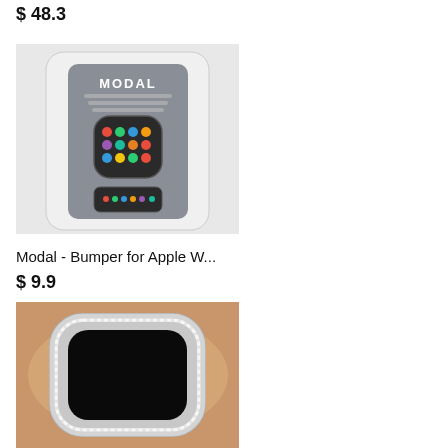$ 48.3
[Figure (photo): Product photo of Modal Apple Watch bumper case packaging, showing two Apple Watch devices on a grey card backing with the Modal logo.]
Modal - Bumper for Apple W...
$ 9.9
[Figure (photo): Photo of a diamond/crystal blinged Apple Watch case worn on a wrist, showing a sparkling silver bezel around a black screen.]